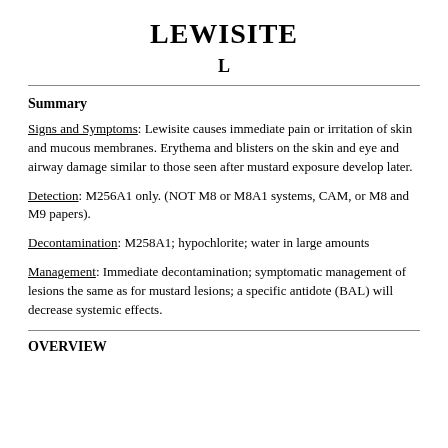LEWISITE
L
Summary
Signs and Symptoms: Lewisite causes immediate pain or irritation of skin and mucous membranes. Erythema and blisters on the skin and eye and airway damage similar to those seen after mustard exposure develop later.
Detection: M256A1 only. (NOT M8 or M8A1 systems, CAM, or M8 and M9 papers).
Decontamination: M258A1; hypochlorite; water in large amounts
Management: Immediate decontamination; symptomatic management of lesions the same as for mustard lesions; a specific antidote (BAL) will decrease systemic effects.
OVERVIEW